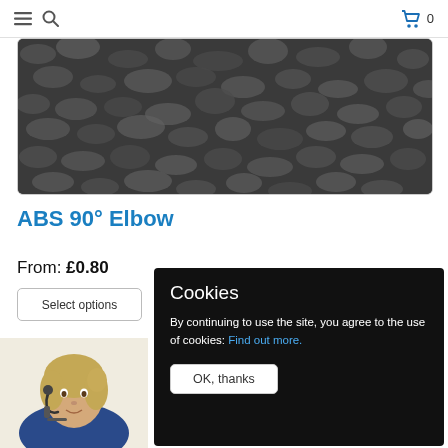Navigation bar with hamburger menu, search icon, cart icon, and cart count 0
[Figure (photo): Close-up photo of dark grey/black rough textured material, likely ABS plastic granules or similar polymer material]
ABS 90° Elbow
From: £0.80
Select options
[Figure (photo): Woman with headset providing customer support]
[Figure (infographic): Delivery truck icon - Secure Payments and PayPal logos at bottom right]
Cookies
By continuing to use the site, you agree to the use of cookies: Find out more.
OK, thanks